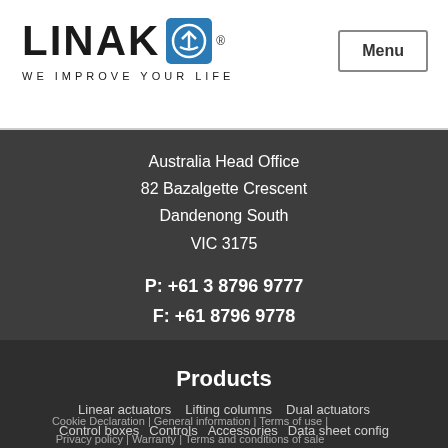[Figure (logo): LINAK logo with blue circular anchor/upload icon and tagline WE IMPROVE YOUR LIFE]
Menu
Australia Head Office
82 Bazalgette Crescent
Dandenong South
VIC 3175
P: +61 3 8796 9777
F: +61 8796 9778
Products
Linear actuators
Lifting columns
Dual actuators
Control boxes
Controls
Accessories
Data sheet config
Cookie Declaration | General information | Terms of use | Privacy policy | Warranty | Terms and conditions of sale